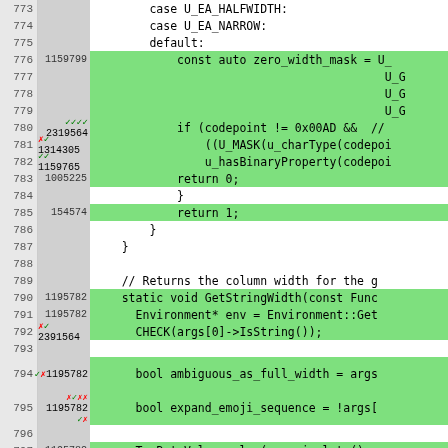[Figure (screenshot): Code coverage view showing C++ source lines 773-798 with line numbers, coverage counts, and color-coded coverage highlighting (green=covered, white=uncovered, yellow=partial). Shows code for a function handling Unicode character width calculations including U_EA_HALFWIDTH, U_EA_NARROW cases, zero_width_mask, return statements, GetStringWidth function, and bool variable declarations.]